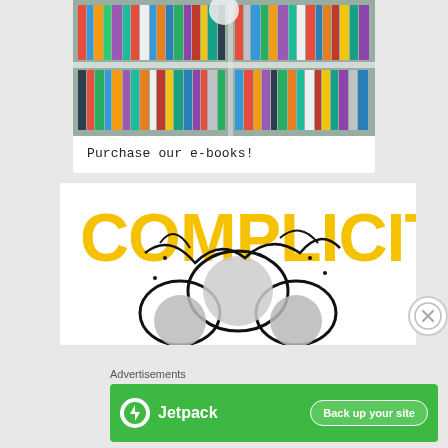[Figure (photo): Photo of a bookshelf filled with many colorful books arranged on shelves]
Purchase our e-books!
[Figure (illustration): Book cover or advertisement for 'COMPLICIT' showing large yellow text and illustrated faces of people in black and white with decorative ink drawings]
Advertisements
[Figure (logo): Jetpack advertisement banner with green background showing Jetpack logo and 'Back up your site' button]